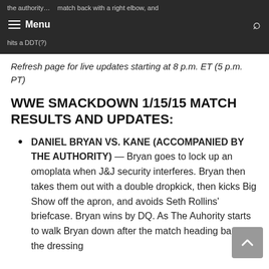the authority... match back with a right elbow, and hits a DDT(?)
Refresh page for live updates starting at 8 p.m. ET (5 p.m. PT)
WWE SMACKDOWN 1/15/15 MATCH RESULTS AND UPDATES:
DANIEL BRYAN VS. KANE (ACCOMPANIED BY THE AUTHORITY) — Bryan goes to lock up an omoplata when J&J security interferes. Bryan then takes them out with a double dropkick, then kicks Big Show off the apron, and avoids Seth Rollins' briefcase. Bryan wins by DQ. As The Auhority starts to walk Bryan down after the match heading back to the dressing